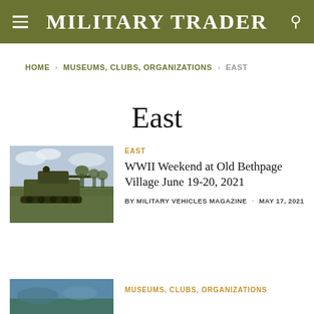Military Trader
HOME > MUSEUMS, CLUBS, ORGANIZATIONS > EAST
East
[Figure (photo): WWII military tank in a field with a soldier on top]
EAST
WWII Weekend at Old Bethpage Village June 19-20, 2021
BY MILITARY VEHICLES MAGAZINE · MAY 17, 2021
[Figure (photo): Partial view of another article thumbnail image]
MUSEUMS, CLUBS, ORGANIZATIONS